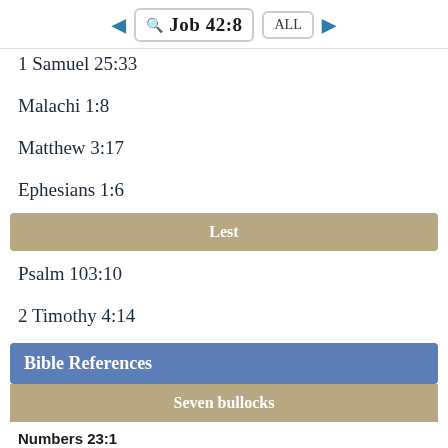Job 42:8
1 Samuel 25:33
Malachi 1:8
Matthew 3:17
Ephesians 1:6
Lest
Psalm 103:10
2 Timothy 4:14
Bible References
Seven bullocks
Numbers 23:1
Then Balaam said to Balak, “Build seven altars for me here,